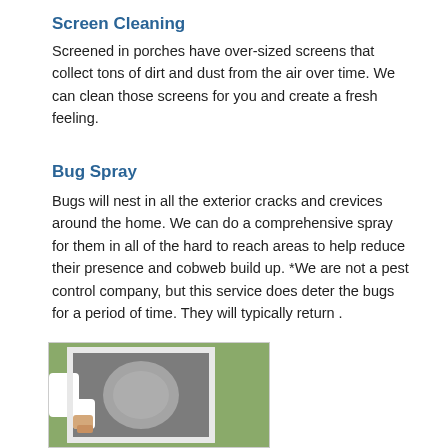Screen Cleaning
Screened in porches have over-sized screens that collect tons of dirt and dust from the air over time. We can clean those screens for you and create a fresh feeling.
Bug Spray
Bugs will nest in all the exterior cracks and crevices around the home. We can do a comprehensive spray for them in all of the hard to reach areas to help reduce their presence and cobweb build up. *We are not a pest control company, but this service does deter the bugs for a period of time. They will typically return .
[Figure (photo): A person in a white long-sleeve shirt cleaning or scrubbing a window screen outdoors, with greenery visible in the background.]